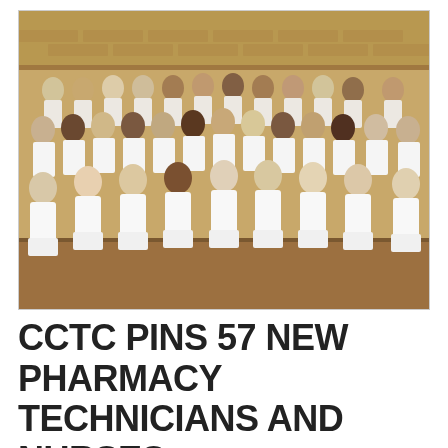[Figure (photo): Group photo of 57 pharmacy technicians and nurses in white uniforms and caps, posed in rows against a brick wall background]
CCTC PINS 57 NEW PHARMACY TECHNICIANS AND NURSES